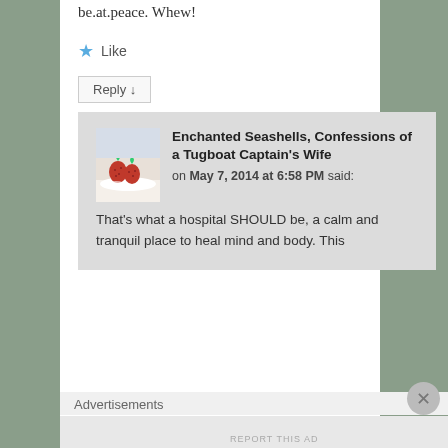be.at.peace. Whew!
★ Like
Reply ↓
Enchanted Seashells, Confessions of a Tugboat Captain's Wife on May 7, 2014 at 6:58 PM said:
That's what a hospital SHOULD be, a calm and tranquil place to heal mind and body. This
Advertisements
REPORT THIS AD